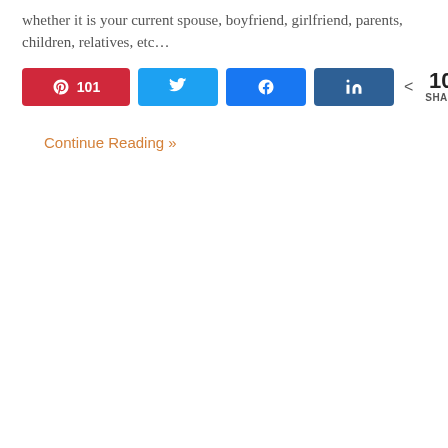whether it is your current spouse, boyfriend, girlfriend, parents, children, relatives, etc…
[Figure (infographic): Social share buttons row: Pinterest (101), Twitter, Facebook, LinkedIn buttons, plus a share count showing 101 SHARES]
Continue Reading »